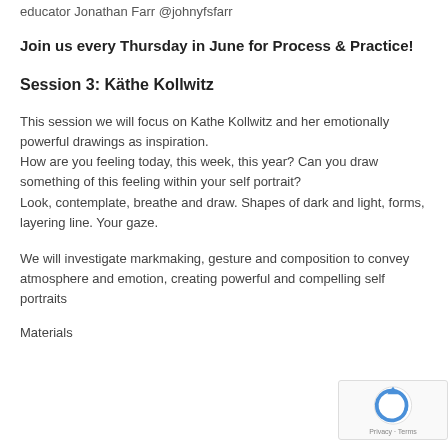educator Jonathan Farr @johnyfsfarr
Join us every Thursday in June for Process & Practice!
Session 3: Käthe Kollwitz
This session we will focus on Kathe Kollwitz and her emotionally powerful drawings as inspiration.
How are you feeling today, this week, this year? Can you draw something of this feeling within your self portrait?
Look, contemplate, breathe and draw. Shapes of dark and light, forms, layering line. Your gaze.
We will investigate markmaking, gesture and composition to convey atmosphere and emotion, creating powerful and compelling self portraits
Materials